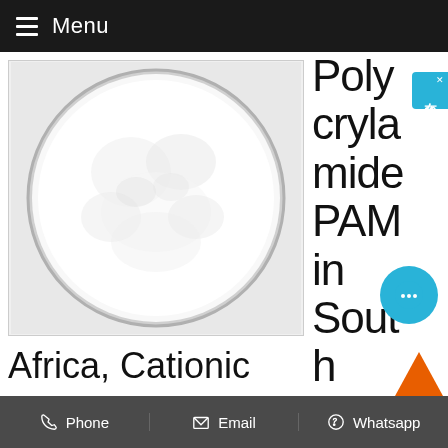Menu
[Figure (photo): White powder substance in a round dish/bowl, product photo of polyacrylamide PAM]
Polyacrylamide PAM in South Africa, Cationic
Add a small amount of cationic polyacrylamide products, can be greatly the flocculation effec...
Phone   Email   Whatsapp